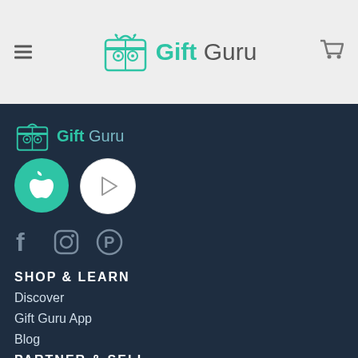Gift Guru — navigation bar with hamburger menu, logo, and cart icon
[Figure (logo): Gift Guru logo with owl icon and teal text in footer area]
[Figure (illustration): Apple App Store button (green circle with apple icon) and Google Play Store button (white circle with play triangle icon)]
[Figure (illustration): Social media icons: Facebook (f), Instagram (camera), Pinterest (P)]
SHOP & LEARN
Discover
Gift Guru App
Blog
PARTNER & SELL